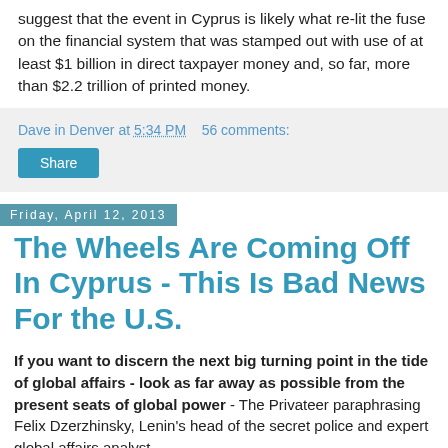suggest that the event in Cyprus is likely what re-lit the fuse on the financial system that was stamped out with use of at least $1 billion in direct taxpayer money and, so far, more than $2.2 trillion of printed money.
Dave in Denver at 5:34 PM   56 comments:
Share
Friday, April 12, 2013
The Wheels Are Coming Off In Cyprus - This Is Bad News For the U.S.
If you want to discern the next big turning point in the tide of global affairs - look as far away as possible from the present seats of global power - The Privateer paraphrasing Felix Dzerzhinsky, Lenin's head of the secret police and expert global affairs analyst.
As The Privateer's Bill Bonner points out: "Once upon a...